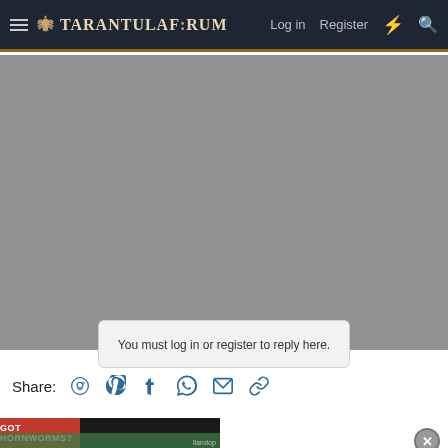TarantulaForum — Log in  Register
[Figure (screenshot): Gray blurred content area showing obscured forum thread content]
You must log in or register to reply here.
Share:
[Figure (infographic): GOT HORNWORMS? advertisement banner with red header and green worm image, with llarotop watermark]
[Figure (other): Close button (X) for advertisement]